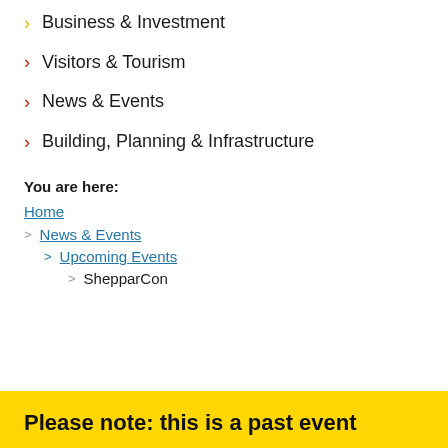Business & Investment
Visitors & Tourism
News & Events
Building, Planning & Infrastructure
You are here:
Home
News & Events
Upcoming Events
ShepparCon
Please note: this is a past event